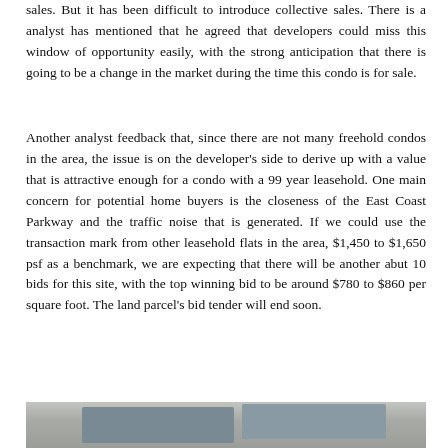sales. But it has been difficult to introduce collective sales. There is a analyst has mentioned that he agreed that developers could miss this window of opportunity easily, with the strong anticipation that there is going to be a change in the market during the time this condo is for sale.
Another analyst feedback that, since there are not many freehold condos in the area, the issue is on the developer's side to derive up with a value that is attractive enough for a condo with a 99 year leasehold. One main concern for potential home buyers is the closeness of the East Coast Parkway and the traffic noise that is generated. If we could use the transaction mark from other leasehold flats in the area, $1,450 to $1,650 psf as a benchmark, we are expecting that there will be another abut 10 bids for this site, with the top winning bid to be around $780 to $860 per square foot. The land parcel's bid tender will end soon.
[Figure (photo): Partial photo of an interior space, showing what appears to be a room with furniture or shelving, cropped at the bottom of the page.]